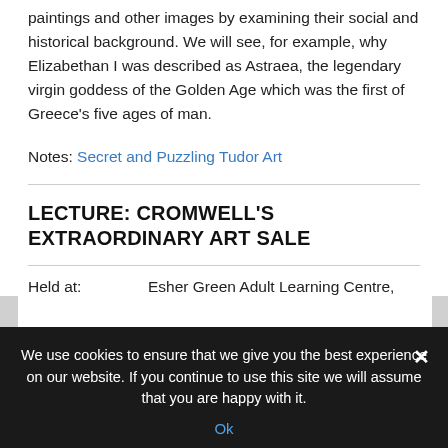paintings and other images by examining their social and historical background. We will see, for example, why Elizabethan I was described as Astraea, the legendary virgin goddess of the Golden Age which was the first of Greece's five ages of man.
Notes: Secret and Puzzling Tudor Art
LECTURE: CROMWELL'S EXTRAORDINARY ART SALE
Held at:    Esher Green Adult Learning Centre,
We use cookies to ensure that we give you the best experience on our website. If you continue to use this site we will assume that you are happy with it.
Ok